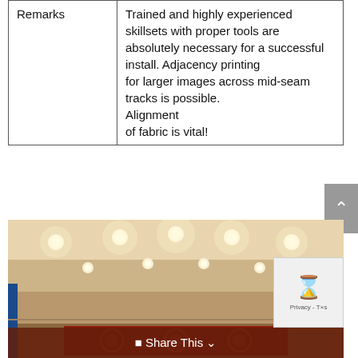| Remarks | Trained and highly experienced skillsets with proper tools are absolutely necessary for a successful install. Adjacency printing
for larger images across mid-seam tracks is possible.
Alignment
of fabric is vital! |
[Figure (photo): Interior photo of a large room with recessed ceiling lights. The ceiling is cream/beige colored with multiple circular recessed lights. The bottom of the image shows a decorative red patterned panel or carpet.]